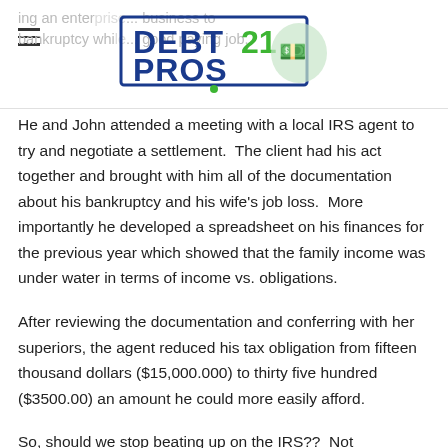DEBT PROS 21 — [logo] — ing an enter... business to bankruptcy whi... good paying job.
He and John attended a meeting with a local IRS agent to try and negotiate a settlement.  The client had his act together and brought with him all of the documentation about his bankruptcy and his wife's job loss.  More importantly he developed a spreadsheet on his finances for the previous year which showed that the family income was under water in terms of income vs. obligations.
After reviewing the documentation and conferring with her superiors, the agent reduced his tax obligation from fifteen thousand dollars ($15,000.000) to thirty five hundred ($3500.00) an amount he could more easily afford.
So, should we stop beating up on the IRS??  Not necessarily, they can still be a big pain in the neck.  Just remember that